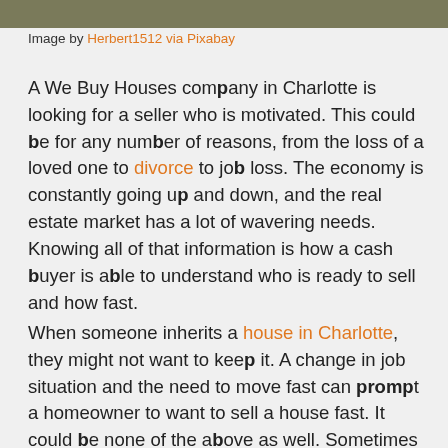[Figure (photo): Partial view of a landscape/outdoor scene cropped at top of page]
Image by Herbert1512 via Pixabay
A We Buy Houses company in Charlotte is looking for a seller who is motivated. This could be for any number of reasons, from the loss of a loved one to divorce to job loss. The economy is constantly going up and down, and the real estate market has a lot of wavering needs. Knowing all of that information is how a cash buyer is able to understand who is ready to sell and how fast.
When someone inherits a house in Charlotte, they might not want to keep it. A change in job situation and the need to move fast can prompt a homeowner to want to sell a house fast. It could be none of the above as well. Sometimes people just don't want the hassle of a traditional